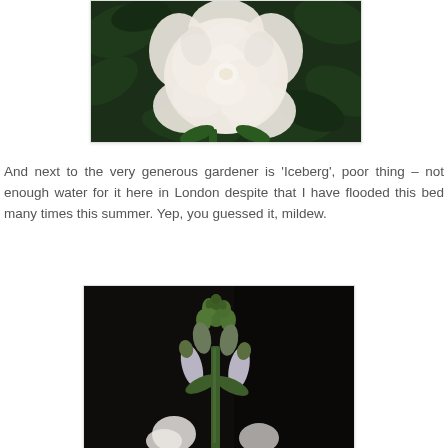[Figure (photo): A white rose flower with petals fully open, surrounded by dark green leaves, photographed close-up with soft lighting against a dark leafy background.]
And next to the very generous gardener is ‘Iceberg’, poor thing – not enough water for it here in London despite that I have flooded this bed many times this summer. Yep, you guessed it, mildew.
[Figure (photo): A flower stem with green buds and white/pale lavender tubular blooms partially open, photographed against a very dark, almost black background. White petals visible at the bottom.]